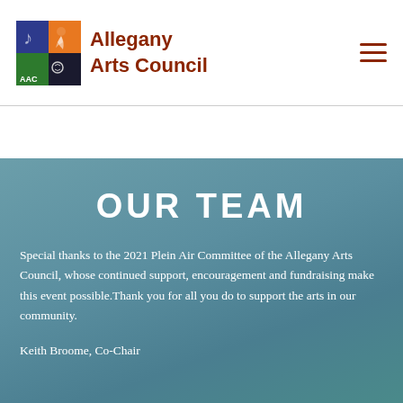[Figure (logo): Allegany Arts Council logo with stylized arts imagery in a square frame]
Allegany Arts Council
OUR TEAM
Special thanks to the 2021 Plein Air Committee of the Allegany Arts Council, whose continued support, encouragement and fundraising make this event possible.Thank you for all you do to support the arts in our community.
Keith Broome, Co-Chair